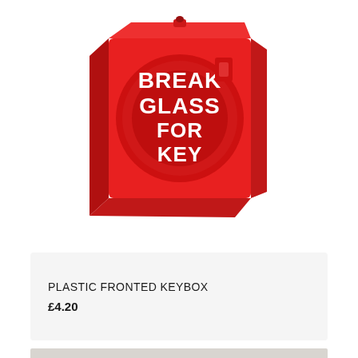[Figure (photo): A red plastic fronted keybox with white text reading 'BREAK GLASS FOR KEY', shown at an angle against a white background.]
PLASTIC FRONTED KEYBOX
£4.20